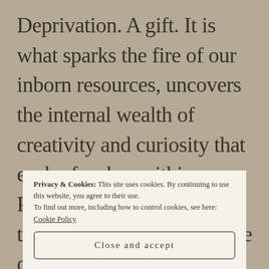Deprivation. A gift. It is what sparks the fire of our inborn resources, uncovers the internal wealth of creativity and curiosity that each of us has within. Perhaps, as families, as towns, and even as an entire country, we have cause to know that much b... b...
Privacy & Cookies: This site uses cookies. By continuing to use this website, you agree to their use.
To find out more, including how to control cookies, see here: Cookie Policy
Close and accept